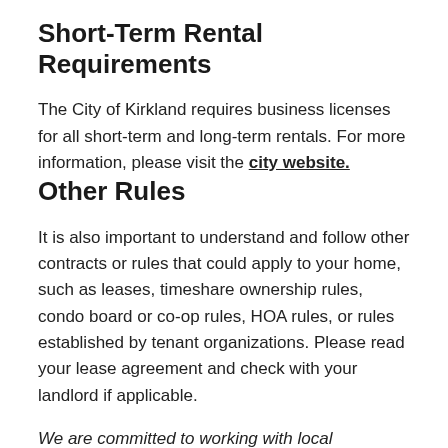Short-Term Rental Requirements
The City of Kirkland requires business licenses for all short-term and long-term rentals. For more information, please visit the city website.
Other Rules
It is also important to understand and follow other contracts or rules that could apply to your home, such as leases, timeshare ownership rules, condo board or co-op rules, HOA rules, or rules established by tenant organizations. Please read your lease agreement and check with your landlord if applicable.
We are committed to working with local